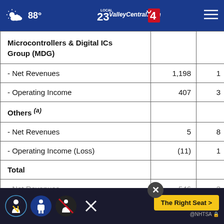88° ValleyCentral.com
|  |  |  |
| --- | --- | --- |
| Microcontrollers & Digital ICs Group (MDG) |  |  |
| - Net Revenues | 1,198 | 1 |
| - Operating Income | 407 | 3 |
| Others (a) |  |  |
| - Net Revenues | 5 | 8 |
| - Operating Income (Loss) | (11) | 1 |
| Total |  |  |
| - Net Revenues | 2,546 | 3 |
| - Op... | ...7 | 8 |